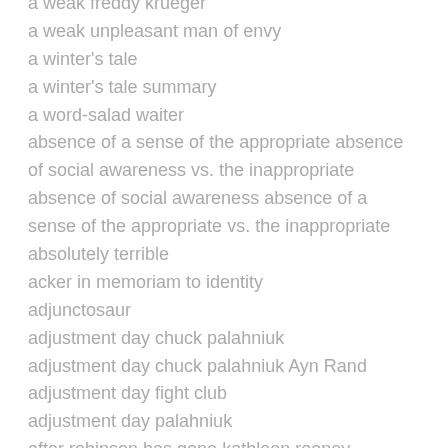a weak freddy krueger
a weak unpleasant man of envy
a winter's tale
a winter's tale summary
a word-salad waiter
absence of a sense of the appropriate absence of social awareness vs. the inappropriate
absence of social awareness absence of a sense of the appropriate vs. the inappropriate
absolutely terrible
acker in memoriam to identity
adjunctosaur
adjustment day chuck palahniuk
adjustment day chuck palahniuk Ayn Rand
adjustment day fight club
adjustment day palahniuk
after robinson has gone kathleen rooney
against georges bataille